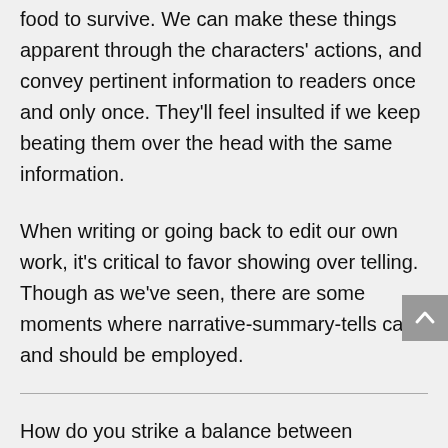food to survive. We can make these things apparent through the characters' actions, and convey pertinent information to readers once and only once. They'll feel insulted if we keep beating them over the head with the same information.
When writing or going back to edit our own work, it's critical to favor showing over telling. Though as we've seen, there are some moments where narrative-summary-tells can and should be employed.
How do you strike a balance between showing and telling? What are some of your challenges